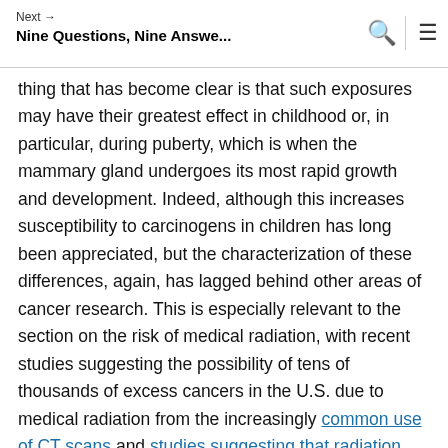Next → Nine Questions, Nine Answe...
thing that has become clear is that such exposures may have their greatest effect in childhood or, in particular, during puberty, which is when the mammary gland undergoes its most rapid growth and development. Indeed, although this increases susceptibility to carcinogens in children has long been appreciated, but the characterization of these differences, again, has lagged behind other areas of cancer research. This is especially relevant to the section on the risk of medical radiation, with recent studies suggesting the possibility of tens of thousands of excess cancers in the U.S. due to medical radiation from the increasingly common use of CT scans and studies suggesting that radiation from mammography may contribute to a small number of breast cancers.

Another good part of the report is its emphasis on the